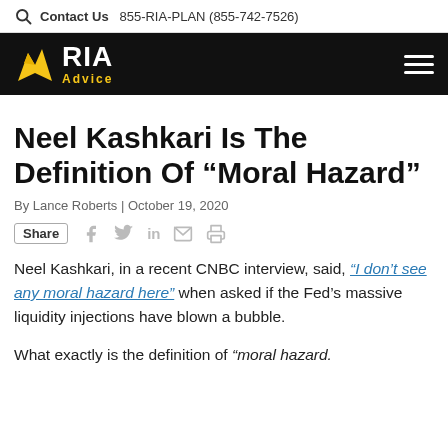Contact Us  855-RIA-PLAN (855-742-7526)
[Figure (logo): RIA Advice logo with eagle emblem on black navigation bar with hamburger menu]
Neel Kashkari Is The Definition Of “Moral Hazard”
By Lance Roberts | October 19, 2020
Share [social icons: Facebook, Twitter, LinkedIn, Email, Print]
Neel Kashkari, in a recent CNBC interview, said, “I don’t see any moral hazard here” when asked if the Fed’s massive liquidity injections have blown a bubble.
What exactly is the definition of “moral hazard.